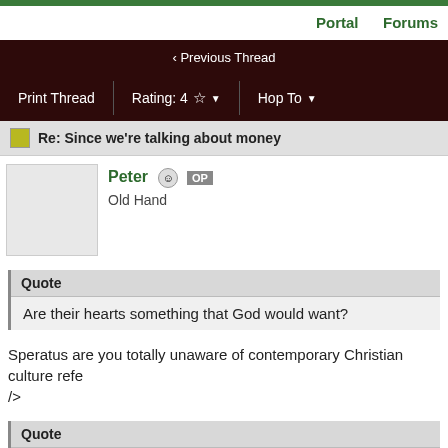Portal   Forums
< Previous Thread
Print Thread   Rating: 4 ☆ ▼   Hop To ▼
Re: Since we're talking about money
Peter  OP
Old Hand
Quote
Are their hearts something that God would want?
Speratus are you totally unaware of contemporary Christian culture refe
/>
Quote